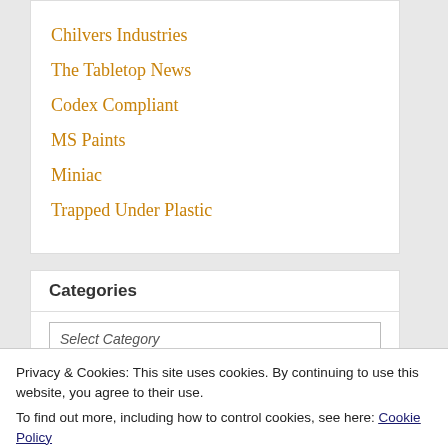Chilvers Industries
The Tabletop News
Codex Compliant
MS Paints
Miniac
Trapped Under Plastic
Categories
Select Category
The Replacement
Privacy & Cookies: This site uses cookies. By continuing to use this website, you agree to their use.
To find out more, including how to control cookies, see here: Cookie Policy
Close and accept